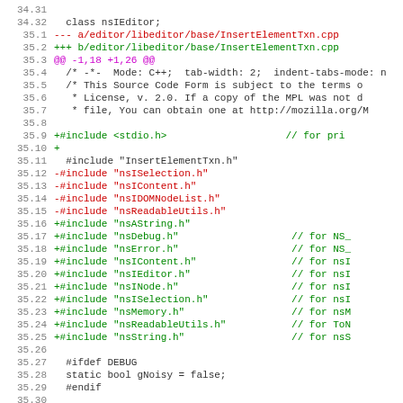[Figure (screenshot): Code diff viewer showing a unified diff of InsertElementTxn.cpp with line numbers, added lines in green, removed lines in red, and diff headers in magenta/red/green.]